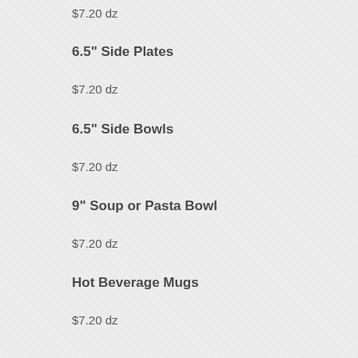$7.20 dz
6.5" Side Plates
$7.20 dz
6.5" Side Bowls
$7.20 dz
9" Soup or Pasta Bowl
$7.20 dz
Hot Beverage Mugs
$7.20 dz